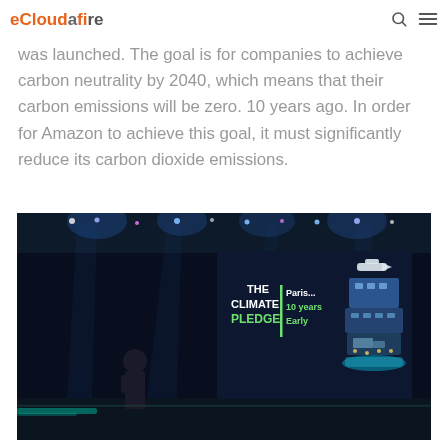eCloudFire (logo with search and menu icons)
was launched. The goal is for companies to achieve carbon neutrality by 2040, which means that their carbon emissions will be zero. 10 years ago. In order for Amazon to achieve this goal, it must significantly reduce its carbon dioxide emissions.
[Figure (photo): A presenter standing on a dark stage with blue lighting, facing a large display showing 'THE CLIMATE PLEDGE - Paris... 10 years Early' with a 3D illustration of transportation and buildings stacked vertically on the right side of the screen.]